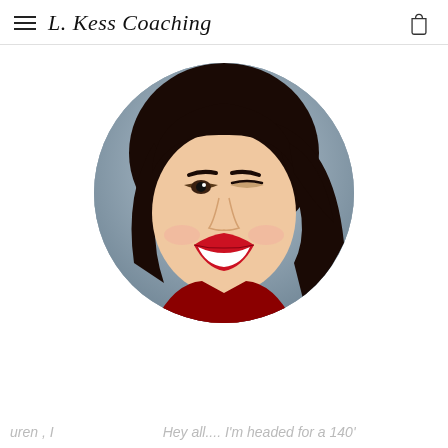L. Kess Coaching
[Figure (photo): Circular cropped headshot photo of a smiling young woman with dark hair, red lipstick, and a red top, against a blurred background.]
uren , I     Hey all.... I'm headed for a 140'